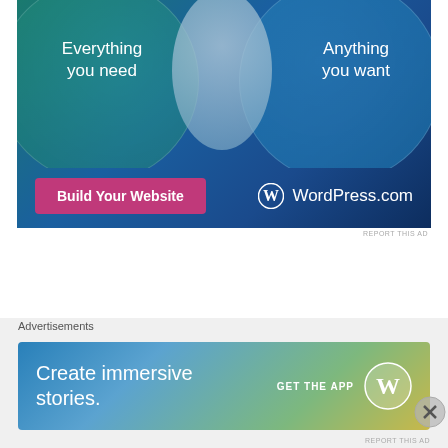[Figure (illustration): WordPress.com advertisement banner with Venn diagram showing two overlapping circles. Left circle labeled 'Everything you need', right circle labeled 'Anything you want'. Bottom has pink 'Build Your Website' button and WordPress.com logo.]
REPORT THIS AD
SHARE
[Figure (illustration): Social media share icons: Facebook (blue circle), Pinterest (red circle), Twitter (cyan circle)]
Advertisements
[Figure (illustration): WordPress.com bottom advertisement banner with gradient background showing 'Create immersive stories.' text and 'GET THE APP' with WordPress logo]